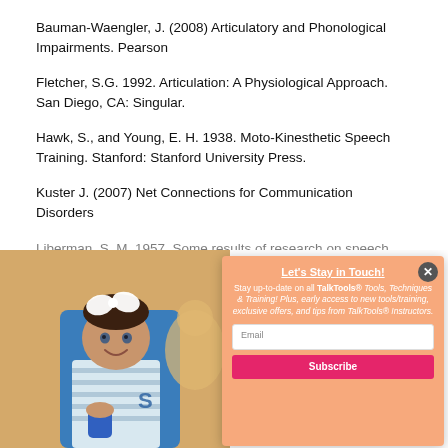Bauman-Waengler, J. (2008) Articulatory and Phonological Impairments. Pearson
Fletcher, S.G. 1992. Articulation: A Physiological Approach. San Diego, CA: Singular.
Hawk, S., and Young, E. H. 1938. Moto-Kinesthetic Speech Training. Stanford: Stanford University Press.
Kuster J. (2007) Net Connections for Communication Disorders
Liberman, S. M. 1957. Some results of research on speech
[Figure (photo): Baby or toddler sitting in a blue high chair, smiling, wearing a striped outfit and holding a blue cup, with a white bow in their hair.]
Let's Stay in Touch!
Stay up-to-date on all TalkTools® Tools, Techniques & Training! Plus, early access to new tools/training, exclusive offers, and tips from TalkTools® Instructors.
Email
Subscribe